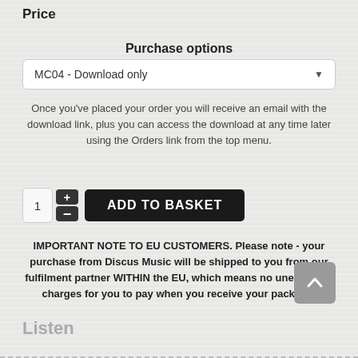Price
Purchase options
MC04 - Download only
Once you've placed your order you will receive an email with the download link, plus you can access the download at any time later using the Orders link from the top menu.
IMPORTANT NOTE TO EU CUSTOMERS. Please note - your purchase from Discus Music will be shipped to you from our fulfilment partner WITHIN the EU, which means no unexpected charges for you to pay when you receive your package!
Listen